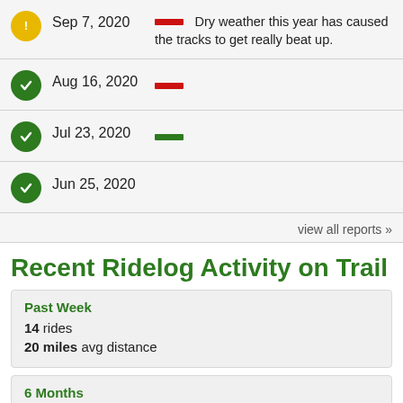Sep 7, 2020 — Dry weather this year has caused the tracks to get really beat up.
Aug 16, 2020 — [red dash]
Jul 23, 2020 — [green dash]
Jun 25, 2020
view all reports »
Recent Ridelog Activity on Trail
| Past Week |  |  |
| 14 rides |  |  |
| 20 miles avg distance |  |  |
| 6 Months |  |  |
| 99 rides |  |  |
| 22 miles avg distance |  |  |